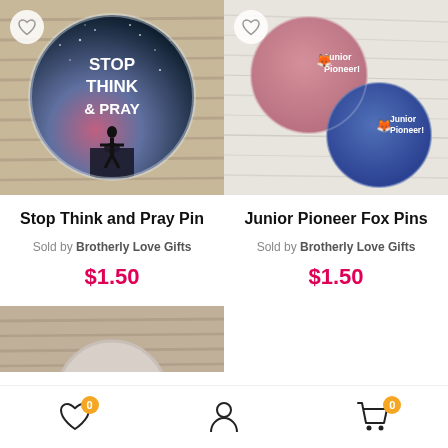[Figure (photo): Photo of a circular pin badge with night sky and silhouette design reading STOP THINK & PRAY]
[Figure (photo): Photo of two circular pin badges with fox and Junior Pioneer text — one pink, one blue]
Stop Think and Pray Pin
Junior Pioneer Fox Pins
Sold by Brotherly Love Gifts
Sold by Brotherly Love Gifts
$1.50
$1.50
[Figure (photo): Partial photo of another pin product (bottom of page, cropped)]
Bottom navigation bar with wishlist (0), account, and cart (0) icons